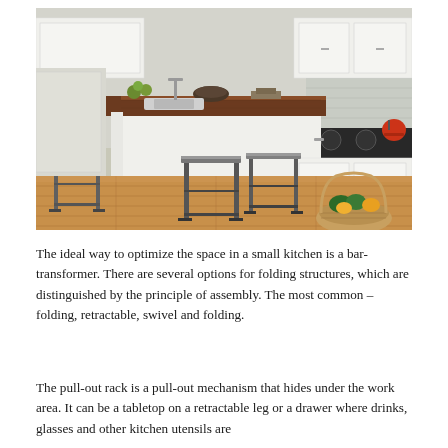[Figure (photo): A modern white kitchen with a large island featuring a dark wood countertop. Three metal bar stools are positioned at the island. White cabinets line the walls, hardwood floors visible, with a basket of vegetables in the foreground right and a red kettle on the stove in the background right. Natural light comes from a window behind the island.]
The ideal way to optimize the space in a small kitchen is a bar-transformer. There are several options for folding structures, which are distinguished by the principle of assembly. The most common – folding, retractable, swivel and folding.
The pull-out rack is a pull-out mechanism that hides under the work area. It can be a tabletop on a retractable leg or a drawer where drinks, glasses and other kitchen utensils are